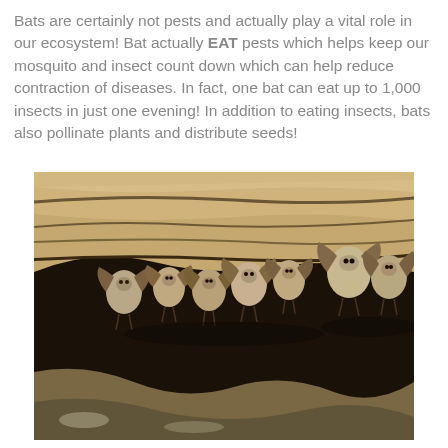Bats are certainly not pests and actually play a vital role in our ecosystem! Bat actually EAT pests which helps keep our mosquito and insect count down which can help reduce contraction of diseases. In fact, one bat can eat up to 1,000 insects in just one evening! In addition to eating insects, bats also pollinate plants and distribute seeds!
[Figure (photo): Close-up photograph of a group of bats hanging upside down from a rocky cave ceiling. The bats are clustered together, showing their folded wings and small faces. The cave walls and ceiling are rough brown/tan rock with layered stone formations.]